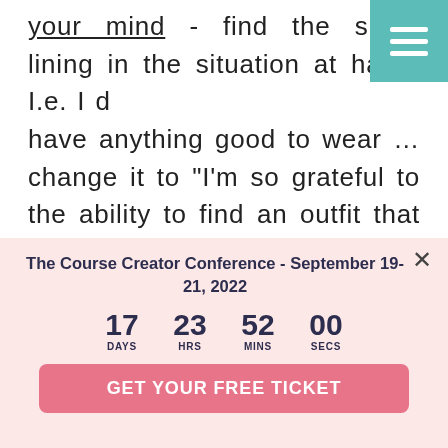your mind - find the silver lining in the situation at hand. I.e. I don't have anything good to wear … change it to "I'm so grateful to the ability to find an outfit that shows my confidence, and the choice I have to
[Figure (other): Teal hamburger menu button in top-right corner with three white horizontal bars]
The Course Creator Conference - September 19-21, 2022
17 DAYS  23 HRS  52 MINS  00 SECS
GET YOUR FREE TICKET